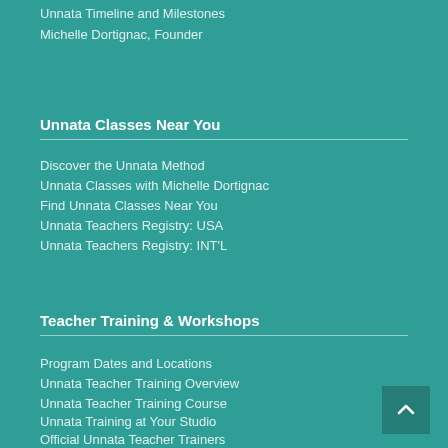Unnata Timeline and Milestones
Michelle Dortignac, Founder
Unnata Classes Near You
Discover the Unnata Method
Unnata Classes with Michelle Dortignac
Find Unnata Classes Near You
Unnata Teachers Registry: USA
Unnata Teachers Registry: INT'L
Teacher Training & Workshops
Program Dates and Locations
Unnata Teacher Training Overview
Unnata Teacher Training Course
Unnata Training at Your Studio
Official Unnata Teacher Trainers